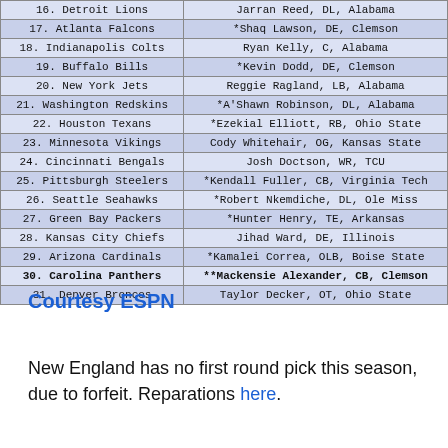| Team | Pick |
| --- | --- |
| 16. Detroit Lions | Jarran Reed, DL, Alabama |
| 17. Atlanta Falcons | *Shaq Lawson, DE, Clemson |
| 18. Indianapolis Colts | Ryan Kelly, C, Alabama |
| 19. Buffalo Bills | *Kevin Dodd, DE, Clemson |
| 20. New York Jets | Reggie Ragland, LB, Alabama |
| 21. Washington Redskins | *A'Shawn Robinson, DL, Alabama |
| 22. Houston Texans | *Ezekial Elliott, RB, Ohio State |
| 23. Minnesota Vikings | Cody Whitehair, OG, Kansas State |
| 24. Cincinnati Bengals | Josh Doctson, WR, TCU |
| 25. Pittsburgh Steelers | *Kendall Fuller, CB, Virginia Tech |
| 26. Seattle Seahawks | *Robert Nkemdiche, DL, Ole Miss |
| 27. Green Bay Packers | *Hunter Henry, TE, Arkansas |
| 28. Kansas City Chiefs | Jihad Ward, DE, Illinois |
| 29. Arizona Cardinals | *Kamalei Correa, OLB, Boise State |
| 30. Carolina Panthers | **Mackensie Alexander, CB, Clemson |
| 31. Denver Broncos | Taylor Decker, OT, Ohio State |
Courtesy ESPN
New England has no first round pick this season, due to forfeit. Reparations here.